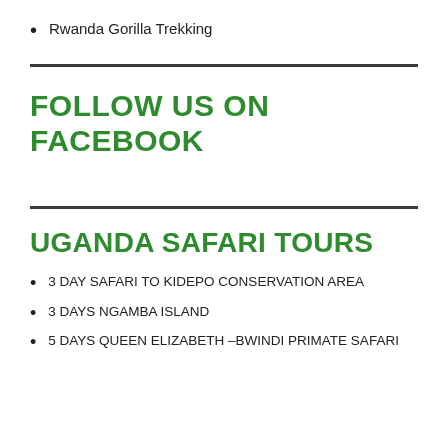Rwanda Gorilla Trekking
FOLLOW US ON FACEBOOK
UGANDA SAFARI TOURS
3 DAY SAFARI TO KIDEPO CONSERVATION AREA
3 DAYS NGAMBA ISLAND
5 DAYS QUEEN ELIZABETH –BWINDI PRIMATE SAFARI